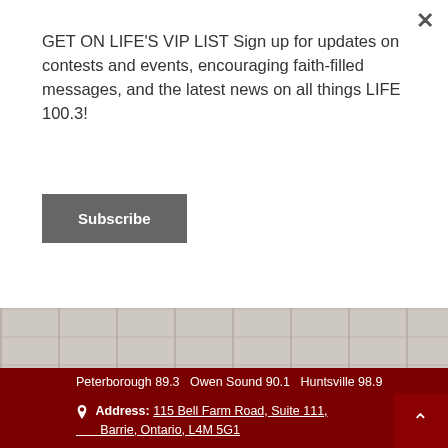GET ON LIFE'S VIP LIST Sign up for updates on contests and events, encouraging faith-filled messages, and the latest news on all things LIFE 100.3!
Subscribe
[Figure (photo): Brick wall texture image strip]
Contact Us
Trust Communications Ministries – Life 100.3 Peterborough 89.3   Owen Sound 90.1   Huntsville 98.9
Address: 115 Bell Farm Road, Suite 111, Barrie, Ontario, L4M 5G1